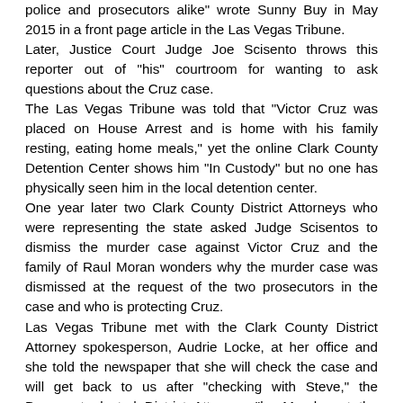police and prosecutors alike" wrote Sunny Buy in May 2015 in a front page article in the Las Vegas Tribune. Later, Justice Court Judge Joe Scisento throws this reporter out of "his" courtroom for wanting to ask questions about the Cruz case. The Las Vegas Tribune was told that "Victor Cruz was placed on House Arrest and is home with his family resting, eating home meals," yet the online Clark County Detention Center shows him "In Custody" but no one has physically seen him in the local detention center. One year later two Clark County District Attorneys who were representing the state asked Judge Scisentos to dismiss the murder case against Victor Cruz and the family of Raul Moran wonders why the murder case was dismissed at the request of the two prosecutors in the case and who is protecting Cruz. Las Vegas Tribune met with the Clark County District Attorney spokesperson, Audrie Locke, at her office and she told the newspaper that she will check the case and will get back to us after "checking with Steve," the Democrat elected District Attorney, "by Monday at the latest. Almost three weeks later